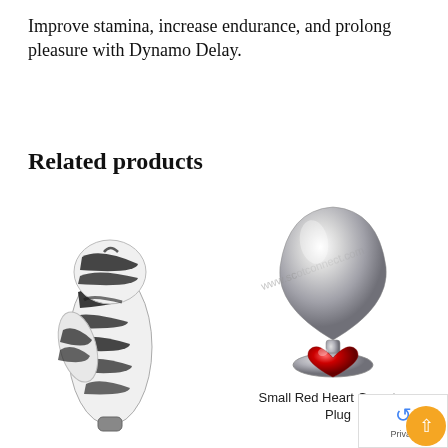Improve stamina, increase endurance, and prolong pleasure with Dynamo Delay.
Related products
[Figure (photo): Zebra-print rabbit-style adult toy, black and white pattern, elongated shape with side attachment]
[Figure (photo): Small metallic butt plug with red heart gemstone base, silver chrome finish]
Small Red Heart Gemstone Plug